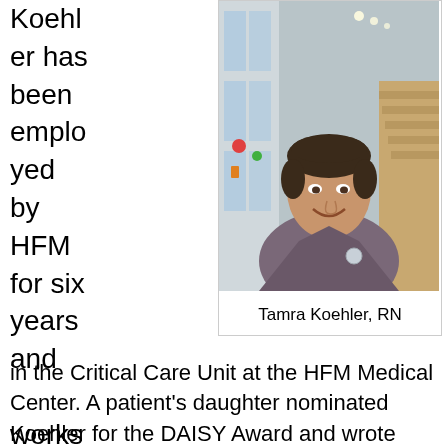Koehler has been employed by HFM for six years and works
[Figure (photo): Portrait photo of Tamra Koehler, RN, a woman with short dark hair wearing dark gray scrubs, smiling, standing in a hospital hallway with stairs and artwork visible in the background.]
Tamra Koehler, RN
in the Critical Care Unit at the HFM Medical Center. A patient's daughter nominated Koehler for the DAISY Award and wrote about her experience with Tamra while her father was a patient in the CCU.